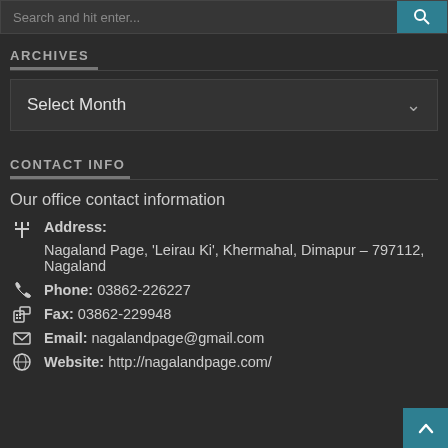Search and hit enter...
ARCHIVES
Select Month
CONTACT INFO
Our office contact information
Address: Nagaland Page, 'Leirau Ki', Khermahal, Dimapur – 797112, Nagaland
Phone: 03862-226227
Fax: 03862-229948
Email: nagalandpage@gmail.com
Website: http://nagalandpage.com/